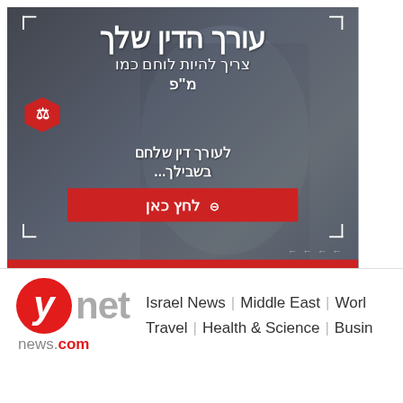[Figure (infographic): PsakDin law firm advertisement in Hebrew featuring a soldier/fighter image with Hebrew text: 'עורך הדין שלך צריך להיות לוחם כמו מ"פ' (Your lawyer needs to be a fighter like a company commander) and 'לעורך דין שלחם בשבילך...' (For a lawyer who fought for you...) with a red CTA button reading 'לחץ כאן' (Click here) and PsakDin logo at bottom]
[Figure (logo): ynet news.com logo - red circle with italic white 'y', grey 'net' text, and 'news.com' with 'com' in red]
Israel News | Middle East | Worl...
Travel | Health & Science | Busin...